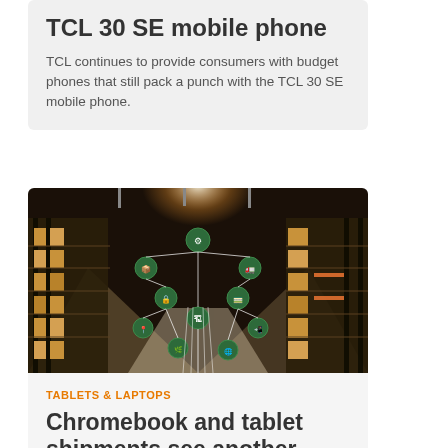TCL 30 SE mobile phone
TCL continues to provide consumers with budget phones that still pack a punch with the TCL 30 SE mobile phone.
[Figure (photo): Warehouse interior with shelves stacked with cardboard boxes, overlaid with green circuit-node supply chain icons connected by white lines]
TABLETS & LAPTOPS
Chromebook and tablet shipments see another rapid